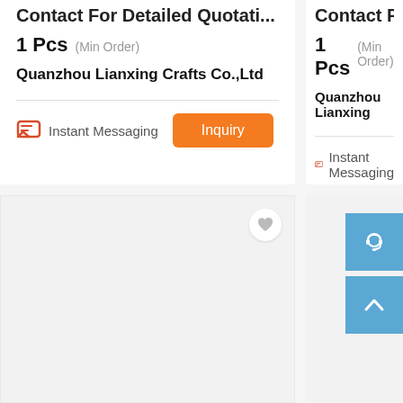Contact For Detailed Quotati...
1 Pcs (Min Order)
Quanzhou Lianxing Crafts Co.,Ltd
Instant Messaging
Inquiry
[Figure (other): Empty product image card with heart/favorite button]
Contact For De...
1 Pcs (Min Order)
Quanzhou Lianxing
Instant Messaging
[Figure (other): Blue headset customer support button and blue up-arrow scroll-to-top button]